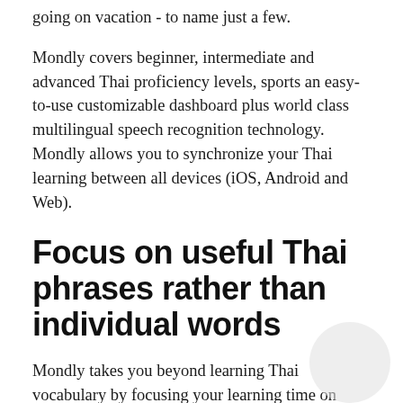going on vacation - to name just a few.
Mondly covers beginner, intermediate and advanced Thai proficiency levels, sports an easy-to-use customizable dashboard plus world class multilingual speech recognition technology. Mondly allows you to synchronize your Thai learning between all devices (iOS, Android and Web).
Focus on useful Thai phrases rather than individual words
Mondly takes you beyond learning Thai vocabulary by focusing your learning time on high-frequency phrases that are immediately useful in real life.